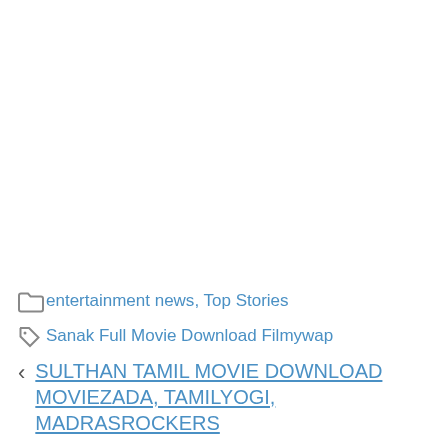Categories: entertainment news, Top Stories
Tags: Sanak Full Movie Download Filmywap
< SULTHAN TAMIL MOVIE DOWNLOAD MOVIEZADA, TAMILYOGI, MADRASROCKERS